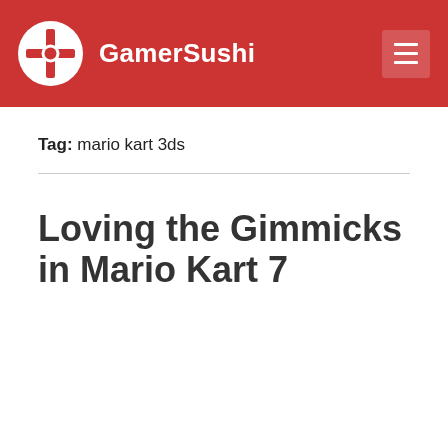GamerSushi
Tag: mario kart 3ds
Loving the Gimmicks in Mario Kart 7